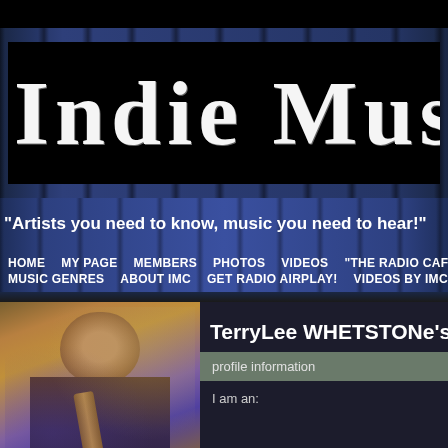[Figure (screenshot): Screenshot of Indie Music Connect (IMC) website with dark blue wood-grain textured background]
Indie Mus
"Artists you need to know, music you need to hear!"
HOME  MY PAGE  MEMBERS  PHOTOS  VIDEOS  "THE RADIO CAFE" S  MUSIC GENRES  ABOUT IMC  GET RADIO AIRPLAY!  VIDEOS BY IMC ART
TerryLee WHETSTONe's P
profile information
I am an: